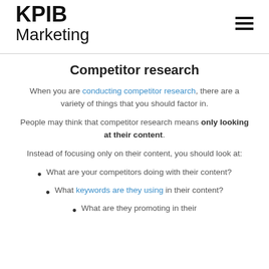KPIB Marketing
Competitor research
When you are conducting competitor research, there are a variety of things that you should factor in.
People may think that competitor research means only looking at their content.
Instead of focusing only on their content, you should look at:
What are your competitors doing with their content?
What keywords are they using in their content?
What are they promoting in their...